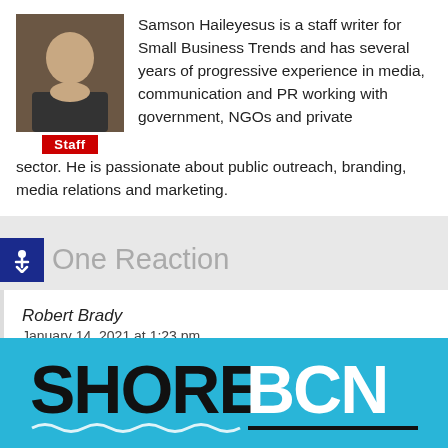Samson Haileyesus is a staff writer for Small Business Trends and has several years of progressive experience in media, communication and PR working with government, NGOs and private sector. He is passionate about public outreach, branding, media relations and marketing.
One Reaction
Robert Brady
January 14, 2021 at 1:23 pm
At least the high costs of California are offset by the high income. It's got great growing conditions…
[Figure (logo): SHORE BCN logo on light blue background with wave decorations]